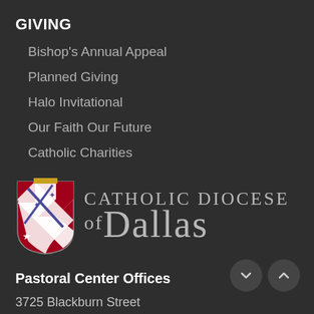GIVING
Bishop's Annual Appeal
Planned Giving
Halo Invitational
Our Faith Our Future
Catholic Charities
[Figure (logo): Catholic Diocese of Dallas logo with shield/coat of arms on the left and text 'Catholic Diocese of Dallas' on the right]
Pastoral Center Offices
3725 Blackburn Street